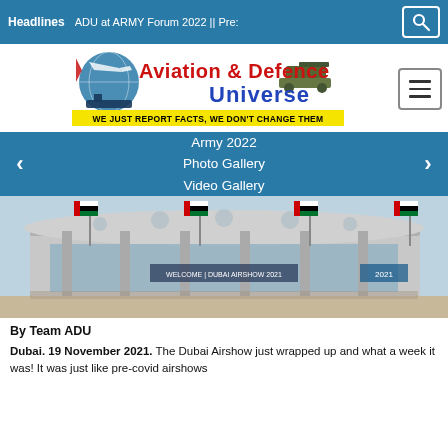Headlines | ADU at ARMY Forum 2022 || Pre:
[Figure (logo): Aviation & Defence Universe logo with globe, aircraft, ship, and tank imagery. Tagline: WE JUST REPORT FACTS, WE DON'T CHANGE THEM]
Army 2022
Photo Gallery
Video Gallery
[Figure (photo): Exterior of Dubai Airshow venue with UAE flags flying on tall poles in front of a modern glass building]
By Team ADU
Dubai. 19 November 2021. The Dubai Airshow just wrapped up and what a week it was! It was just like pre-covid airshows